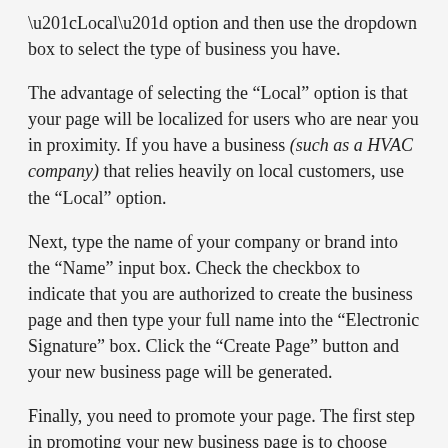“Local” option and then use the dropdown box to select the type of business you have.
The advantage of selecting the “Local” option is that your page will be localized for users who are near you in proximity. If you have a business (such as a HVAC company) that relies heavily on local customers, use the “Local” option.
Next, type the name of your company or brand into the “Name” input box. Check the checkbox to indicate that you are authorized to create the business page and then type your full name into the “Electronic Signature” box. Click the “Create Page” button and your new business page will be generated.
Finally, you need to promote your page. The first step in promoting your new business page is to choose your business contacts from your existing contacts